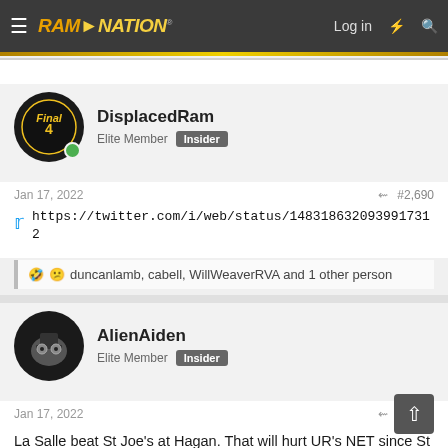RamNation - Log in
DisplacedRam · Elite Member · Insider
Jan 17, 2022 · #2,690
https://twitter.com/i/web/status/1483186320939917312
duncanlamb, cabell, WillWeaverRVA and 1 other person
AlienAiden · Elite Member · Insider
Jan 17, 2022 · #2,601
La Salle beat St Joe's at Hagan. That will hurt UR's NET since St Joe's blew them out at the Robins Center 😄